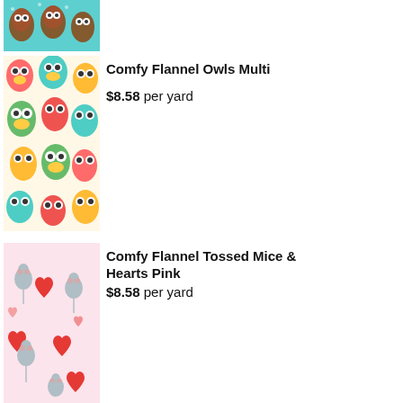[Figure (photo): Partial view of Comfy Flannel Owls fabric on teal/mint background with cartoon owl pattern]
[Figure (photo): Comfy Flannel Owls Multi fabric showing colorful cartoon owls in red, teal, yellow, green on white background]
Comfy Flannel Owls Multi
$8.58 per yard
[Figure (photo): Comfy Flannel Tossed Mice & Hearts Pink fabric showing gray mice and red hearts on pink background]
Comfy Flannel Tossed Mice & Hearts Pink
$8.58 per yard